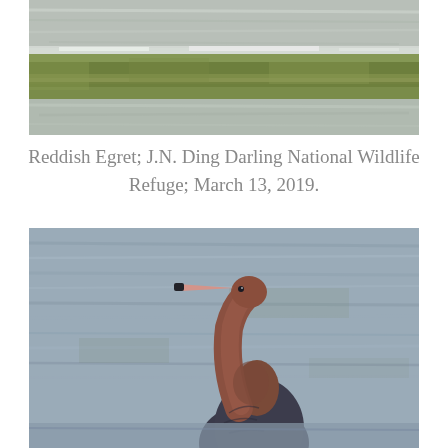[Figure (photo): Top portion of a photo showing water surface with green algae or vegetation band and rippled water above and below]
Reddish Egret; J.N. Ding Darling National Wildlife Refuge; March 13, 2019.
[Figure (photo): A Reddish Egret bird with reddish-brown neck and dark body standing in shallow water, with blurred blue-grey water background]